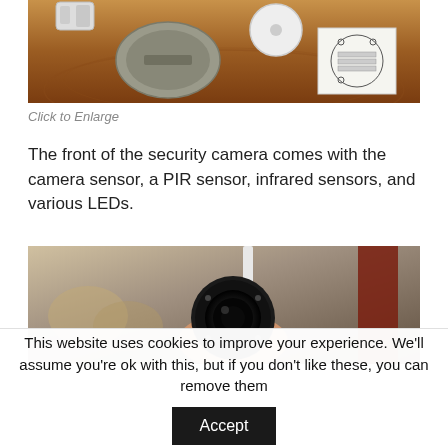[Figure (photo): Top portion of a security camera unboxing photo showing camera components including mounting hardware, PIR sensor base, and instruction sheet on a wooden surface]
Click to Enlarge
The front of the security camera comes with the camera sensor, a PIR sensor, infrared sensors, and various LEDs.
[Figure (photo): Person holding a security camera showing its front face with camera lens, infrared LEDs, and antenna visible against a blurred background]
This website uses cookies to improve your experience. We'll assume you're ok with this, but if you don't like these, you can remove them